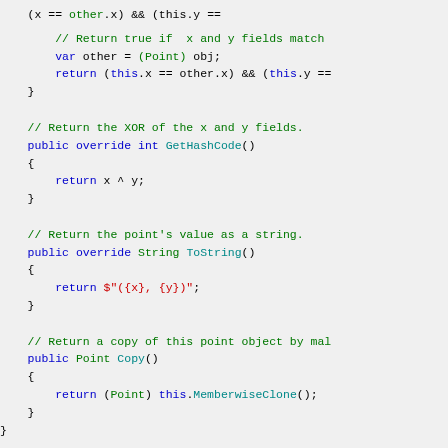Code snippet showing Java/C# Point class methods: equals continuation, GetHashCode, ToString, and Copy
[Figure (screenshot): Source code listing showing methods of a Point class including GetHashCode, ToString, and Copy methods with syntax highlighting]